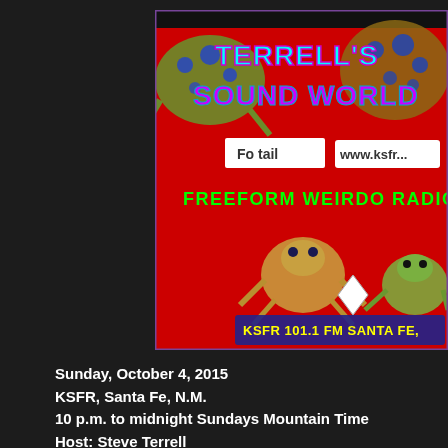[Figure (illustration): Terrell's Sound World radio show promotional image. Red background with illustrated gecko/lizard creatures. Text reads: TERRELL'S SOUND WORLD in cyan/magenta letters. FREEFORM WEIRDO RADIO in green. www.ksfr shown. KSFR 101.1 FM SANTA FE at bottom. A label reading 'Foxtail' is visible.]
Sunday, October 4, 2015
KSFR, Santa Fe, N.M.
10 p.m. to midnight Sundays Mountain Time
Host: Steve Terrell